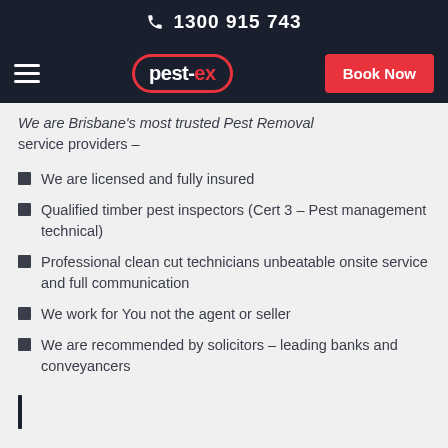1300 915 743
[Figure (logo): pest-ex logo in red oval border with hamburger menu and Book Now button]
We are Brisbane's most trusted Pest Removal service providers –
We are licensed and fully insured
Qualified timber pest inspectors (Cert 3 – Pest management technical)
Professional clean cut technicians unbeatable onsite service and full communication
We work for You not the agent or seller
We are recommended by solicitors – leading banks and conveyancers